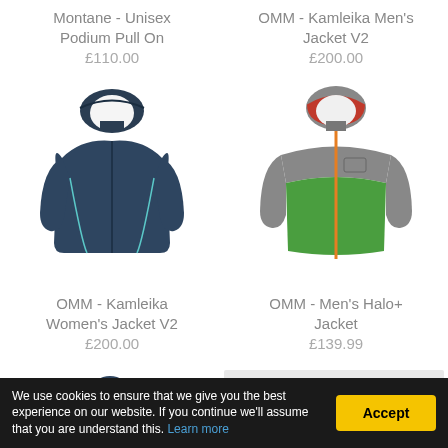Montane - Unisex Podium Pull On
£110.00
OMM - Kamleika Men's Jacket V2
£200.00
[Figure (photo): OMM Kamleika Women's Jacket V2 - dark navy blue hooded running jacket]
OMM - Kamleika Women's Jacket V2
£200.00
[Figure (photo): OMM Men's Halo+ Jacket - gray and green hooded running jacket with orange zipper]
OMM - Men's Halo+ Jacket
£139.99
We use cookies to ensure that we give you the best experience on our website. If you continue we'll assume that you are understand this. Learn more
Accept